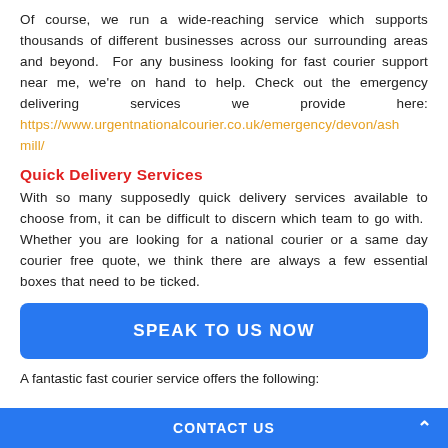Of course, we run a wide-reaching service which supports thousands of different businesses across our surrounding areas and beyond.  For any business looking for fast courier support near me, we're on hand to help. Check out the emergency delivering services we provide here: https://www.urgentnationalcourier.co.uk/emergency/devon/ashmill/
Quick Delivery Services
With so many supposedly quick delivery services available to choose from, it can be difficult to discern which team to go with.  Whether you are looking for a national courier or a same day courier free quote, we think there are always a few essential boxes that need to be ticked.
[Figure (other): Blue rounded button with white bold text reading SPEAK TO US NOW]
A fantastic fast courier service offers the following:
CONTACT US